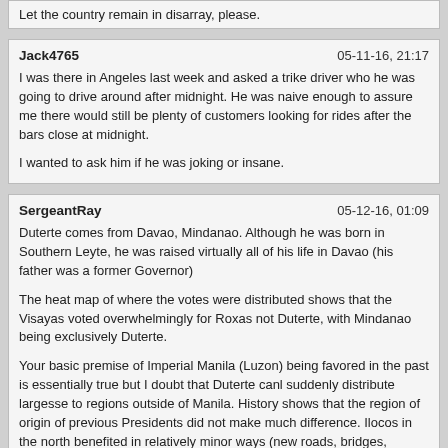Let the country remain in disarray, please.
Jack4765	05-11-16, 21:17
I was there in Angeles last week and asked a trike driver who he was going to drive around after midnight. He was naive enough to assure me there would still be plenty of customers looking for rides after the bars close at midnight.

I wanted to ask him if he was joking or insane.
SergeantRay	05-12-16, 01:09
Duterte comes from Davao, Mindanao. Although he was born in Southern Leyte, he was raised virtually all of his life in Davao (his father was a former Governor)

The heat map of where the votes were distributed shows that the Visayas voted overwhelmingly for Roxas not Duterte, with Mindanao being exclusively Duterte.

Your basic premise of Imperial Manila (Luzon) being favored in the past is essentially true but I doubt that Duterte canl suddenly distribute largesse to regions outside of Manila. History shows that the region of origin of previous Presidents did not make much difference. Ilocos in the north benefited in relatively minor ways (new roads, bridges, irrigation systems etc if you consider the influence of Marcos) but the infrastructure is still generally poor around Pampanga (Arroyo) or Tarlac (Aquino) so there has not been any noticeable influence on fund re-distribution in those areas.Red Kilt,

According to this heat map (http://bilangpilipino.com/presidential-heat-map) Cebu, Bohol, and Leyte went for Duterte. Duterte came in second in Negros.

I would agree that winning is one thing, overcoming the focus on Manila and the capital region is another thing entirely.